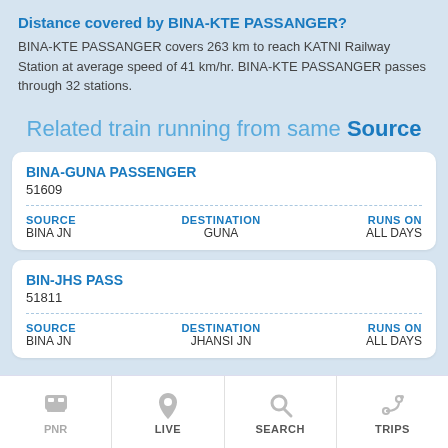Distance covered by BINA-KTE PASSANGER?
BINA-KTE PASSANGER covers 263 km to reach KATNI Railway Station at average speed of 41 km/hr. BINA-KTE PASSANGER passes through 32 stations.
Related train running from same Source
| BINA-GUNA PASSENGER | 51609 |
| --- | --- |
| SOURCE
BINA JN | DESTINATION
GUNA | RUNS ON
ALL DAYS |
| BIN-JHS PASS | 51811 |
| --- | --- |
| SOURCE
BINA JN | DESTINATION
JHANSI JN | RUNS ON
ALL DAYS |
PNR | LIVE | SEARCH | TRIPS